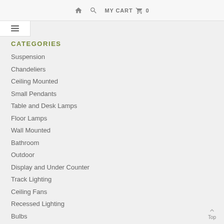🏠 🔍 MY CART 🛒 0
CATEGORIES
Suspension
Chandeliers
Ceiling Mounted
Small Pendants
Table and Desk Lamps
Floor Lamps
Wall Mounted
Bathroom
Outdoor
Display and Under Counter
Track Lighting
Ceiling Fans
Recessed Lighting
Bulbs
Clearance Specials
Accessories